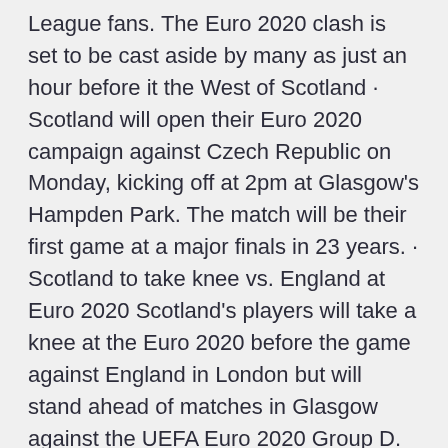League fans. The Euro 2020 clash is set to be cast aside by many as just an hour before it the West of Scotland · Scotland will open their Euro 2020 campaign against Czech Republic on Monday, kicking off at 2pm at Glasgow's Hampden Park. The match will be their first game at a major finals in 23 years. · Scotland to take knee vs. England at Euro 2020 Scotland's players will take a knee at the Euro 2020 before the game against England in London but will stand ahead of matches in Glasgow against the UEFA Euro 2020 Group D. Group D of UEFA Euro 2020 will take place from 13 to in Glasgow 's Hampden Park and London 's Wembley Stadium. The group contains host nation England, Croatia, host nation Scotland and the Czech Republic.
Scotland won't take knee at Euro 2020 and will stand against England at Wembley Scotland kick off their